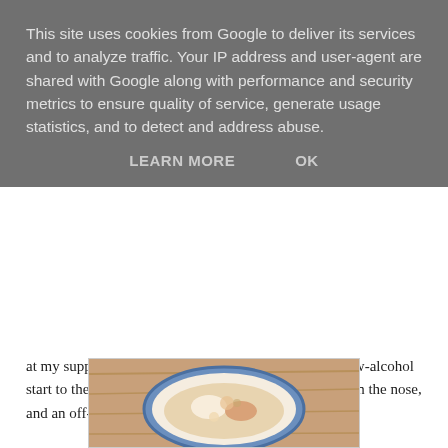This site uses cookies from Google to deliver its services and to analyze traffic. Your IP address and user-agent are shared with Google along with performance and security metrics to ensure quality of service, generate usage statistics, and to detect and address abuse.
LEARN MORE   OK
at my supper club - it made a deliciously refreshing, low-alcohol start to the meal, with delicate stone fruit and brioche on the nose, and an off-dry finish.
The Tai Ji supreme seafood soup was served yin and yang-style, with one side consisting of crab roe and vegetarian shark fin, the other of egg white in broth, with winter bamboo, scampi and scallops served separately in a spoon. To eat, all three components are mixed together. This was warming, with delicate flavours of freshest seafood, and a refreshing crunchy texture from the winter bamboo.
[Figure (photo): A bowl of soup photographed from above, appearing to be the Tai Ji supreme seafood soup on a wooden table surface]